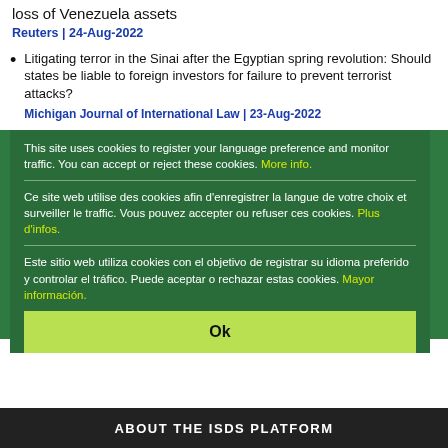loss of Venezuela assets
Reuters | 24-Aug-2022
Litigating terror in the Sinai after the Egyptian spring revolution: Should states be liable to foreign investors for failure to prevent terrorist attacks?
Michigan Journal of International Law | 23-Aug-2022
... ns l'affaire l'opposait à Sothore Holding
Yabiladi | 23-Aug-2022
De Multi ... and Crop...rix Crop...
The New Indian Express | 22-Aug-2022
This site uses cookies to register your language preference and monitor traffic. You can accept or reject these cookies. More info.
Ce site web utilise des cookies afin d'enregistrer la langue de votre choix et surveiller le traffic. Vous pouvez accepter ou refuser ces cookies. Plus d'infos.
Este sitio web utiliza cookies con el objetivo de registrar su idioma preferido y controlar el tráfico. Puede aceptar o rechazar estas cookies. Mayor información.
MORE
Ok
ABOUT THE ISDS PLATFORM